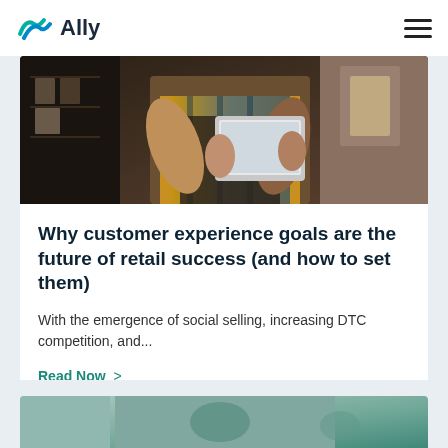Ally
[Figure (photo): Person holding a tablet/iPad in a retail store setting, wearing a plaid shirt and dark apron]
Why customer experience goals are the future of retail success (and how to set them)
With the emergence of social selling, increasing DTC competition, and...
Read Now >